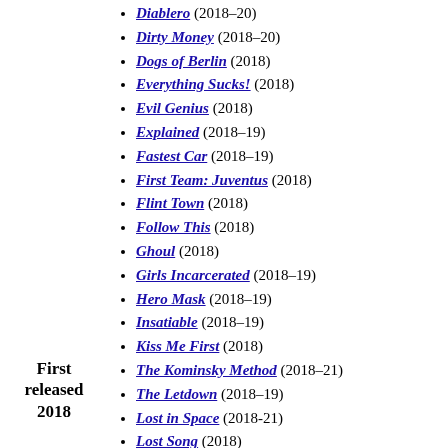Diablero (2018–20)
Dirty Money (2018–20)
Dogs of Berlin (2018)
Everything Sucks! (2018)
Evil Genius (2018)
Explained (2018–19)
Fastest Car (2018–19)
First Team: Juventus (2018)
Flint Town (2018)
Follow This (2018)
Ghoul (2018)
Girls Incarcerated (2018–19)
Hero Mask (2018–19)
Insatiable (2018–19)
Kiss Me First (2018)
The Kominsky Method (2018–21)
The Letdown (2018–19)
Lost in Space (2018-21)
Lost Song (2018)
Maniac (2018)
Marching Orders (2018)
Motown Magic (2018-19)
Murder Mountain (2018)
Nicky Jam: El Ganador (2018)
Norm Macdonald Has a Show (2018)
First released 2018